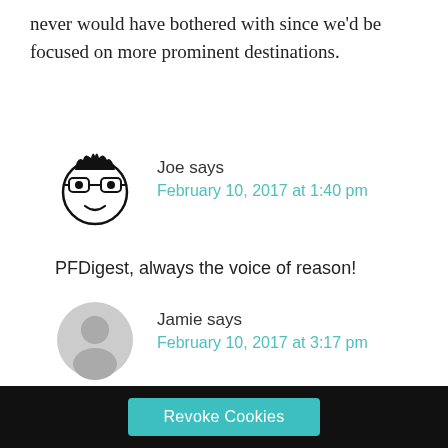never would have bothered with since we'd be focused on more prominent destinations.
Joe says
February 10, 2017 at 1:40 pm
PFDigest, always the voice of reason!
Jamie says
February 10, 2017 at 3:17 pm
Exploring near home is a great idea. I've
Revoke Cookies